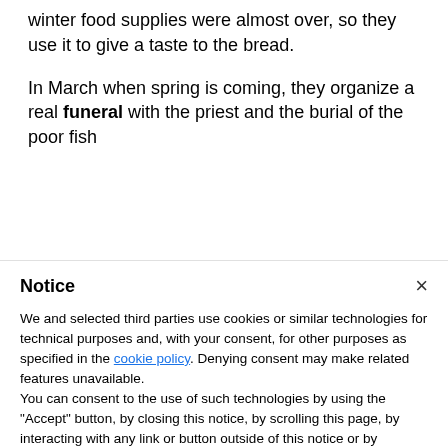winter food supplies were almost over, so they use it to give a taste to the bread.
In March when spring is coming, they organize a real funeral with the priest and the burial of the poor fish
Notice
We and selected third parties use cookies or similar technologies for technical purposes and, with your consent, for other purposes as specified in the cookie policy. Denying consent may make related features unavailable.
You can consent to the use of such technologies by using the "Accept" button, by closing this notice, by scrolling this page, by interacting with any link or button outside of this notice or by continuing to browse otherwise.
Accept
Learn more and customize